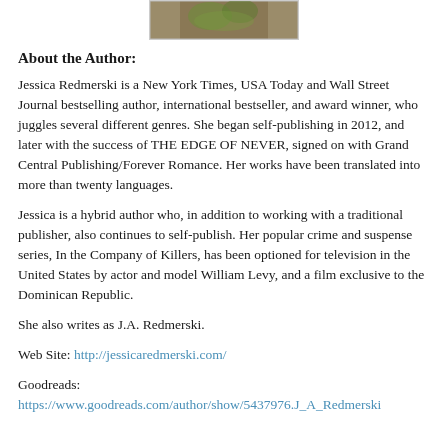[Figure (photo): Author photo of Jessica Redmerski, partial view at top of page]
About the Author:
Jessica Redmerski is a New York Times, USA Today and Wall Street Journal bestselling author, international bestseller, and award winner, who juggles several different genres. She began self-publishing in 2012, and later with the success of THE EDGE OF NEVER, signed on with Grand Central Publishing/Forever Romance. Her works have been translated into more than twenty languages.
Jessica is a hybrid author who, in addition to working with a traditional publisher, also continues to self-publish. Her popular crime and suspense series, In the Company of Killers, has been optioned for television in the United States by actor and model William Levy, and a film exclusive to the Dominican Republic.
She also writes as J.A. Redmerski.
Web Site: http://jessicaredmerski.com/
Goodreads: https://www.goodreads.com/author/show/5437976.J_A_Redmerski